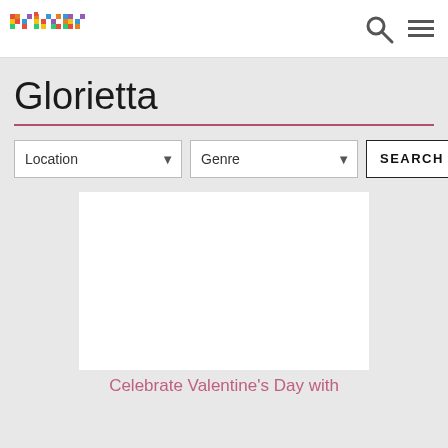primer
Glorietta
Location  Genre  SEARCH
[Figure (screenshot): White card image placeholder for an article or event listing]
Celebrate Valentine's Day with